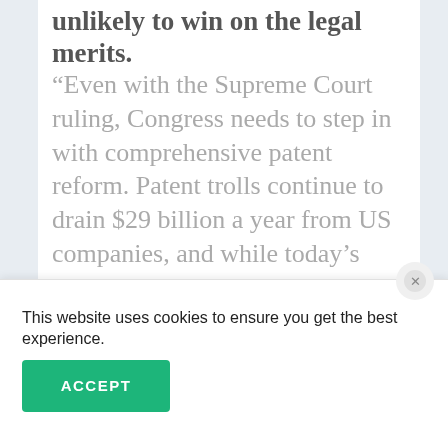unlikely to win on the legal merits.
“Even with the Supreme Court ruling, Congress needs to step in with comprehensive patent reform. Patent trolls continue to drain $29 billion a year from US companies, and while today’s ruling removes one tool used to manipulate the system, there are still others enabling the abuse of the patent system. It’s an area ripe for bipartisan cooperation as Congress
This website uses cookies to ensure you get the best experience.